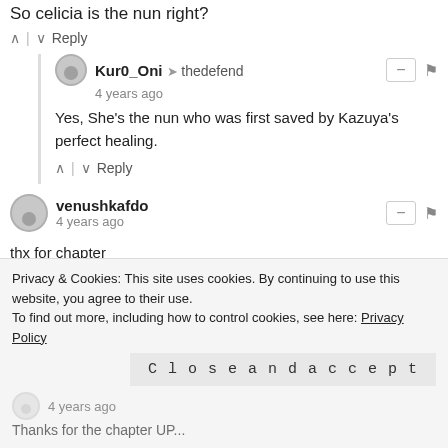So celicia is the nun right?
^ | v  Reply
Kur0_Oni → thedefend
4 years ago
Yes, She's the nun who was first saved by Kazuya's perfect healing.
^ | v  Reply
venushkafdo
4 years ago
thx for chapter
keep up
^ | v  Reply
Ramirez Dangos (@Dan...
Privacy & Cookies: This site uses cookies. By continuing to use this website, you agree to their use.
To find out more, including how to control cookies, see here: Privacy Policy
Close and accept
4 years ago
Thanks for the chapter UP...